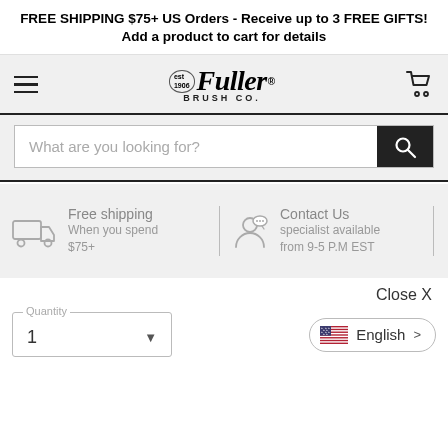FREE SHIPPING $75+ US Orders - Receive up to 3 FREE GIFTS! Add a product to cart for details
[Figure (logo): Fuller Brush Co. logo with hamburger menu and cart icon in a gray navigation bar]
[Figure (screenshot): Search bar with placeholder 'What are you looking for?' and black search button]
[Figure (infographic): Info strip with truck icon for Free shipping when you spend $75+ and person/chat icon for Contact Us specialist available from 9-5 P.M EST]
Close X
Quantity 1
English